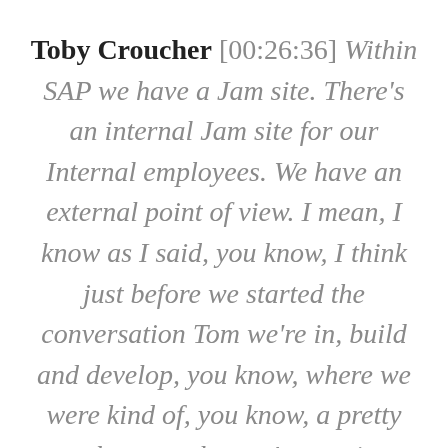Toby Croucher [00:26:36] Within SAP we have a Jam site. There's an internal Jam site for our Internal employees. We have an external point of view. I mean, I know as I said, you know, I think just before we started the conversation Tom we're in, build and develop, you know, where we were kind of, you know, a pretty early stages but we're moving